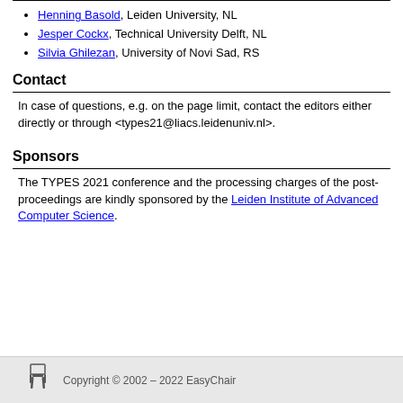Henning Basold, Leiden University, NL
Jesper Cockx, Technical University Delft, NL
Silvia Ghilezan, University of Novi Sad, RS
Contact
In case of questions, e.g. on the page limit, contact the editors either directly or through <types21@liacs.leidenuniv.nl>.
Sponsors
The TYPES 2021 conference and the processing charges of the post-proceedings are kindly sponsored by the Leiden Institute of Advanced Computer Science.
Copyright © 2002 – 2022 EasyChair